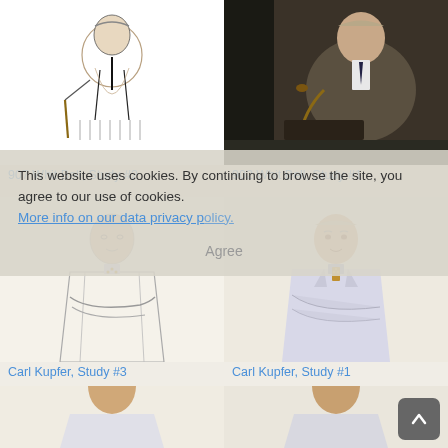[Figure (illustration): Sketch/drawing of elderly man seated holding a cane, wearing suit and tie — Whit Bell Study #2]
907 Whit Bell, Study #2
[Figure (photo): Photograph of elderly man seated holding a cane, wearing tweed jacket — Whit Bell Study #1]
902 Whit Bell, Study #1
[Figure (illustration): Sketch/drawing of man in white lab coat with arms crossed — Carl Kupfer Study #3]
Carl Kupfer, Study #3
[Figure (illustration): Colored illustration of man in white lab coat with arms crossed — Carl Kupfer Study #1]
Carl Kupfer, Study #1
[Figure (illustration): Partial view of man in white lab coat — bottom row left]
[Figure (illustration): Partial view of man in white lab coat — bottom row right]
This website uses cookies. By continuing to browse the site, you agree to our use of cookies. More info on our data privacy policy.